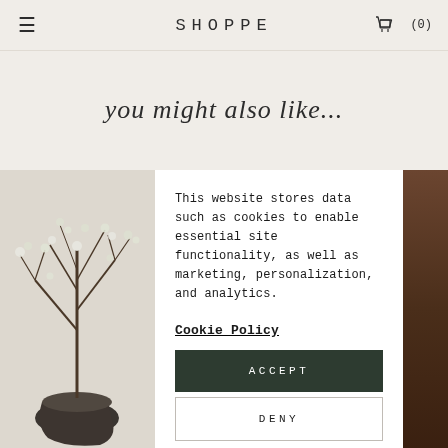≡  SHOPPE  🛒 (0)
you might also like...
[Figure (photo): Photo of flowering branches in a dark ceramic pot against a light wall, with a dark background image partially visible on the right edge]
This website stores data such as cookies to enable essential site functionality, as well as marketing, personalization, and analytics.
Cookie Policy
ACCEPT
DENY